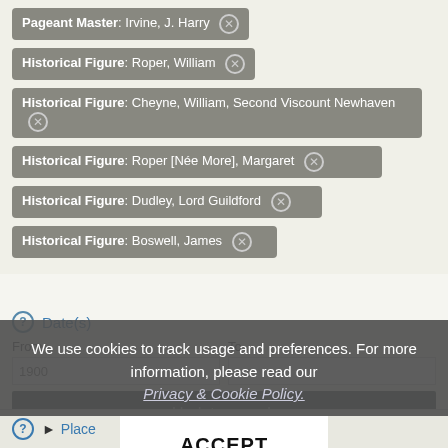Pageant Master: Irvine, J. Harry ✕
Historical Figure: Roper, William ✕
Historical Figure: Cheyne, William, Second Viscount Newhaven ✕
Historical Figure: Roper [Née More], Margaret ✕
Historical Figure: Dudley, Lord Guildford ✕
Historical Figure: Boswell, James ✕
Date(s)
From
To
1900
Update search
We use cookies to track usage and preferences. For more information, please read our Privacy & Cookie Policy.
ACCEPT
Place